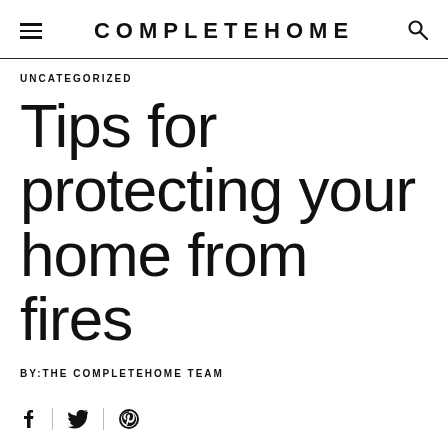COMPLETEHOME
UNCATEGORIZED
Tips for protecting your home from fires
BY:THE COMPLETEHOME TEAM
[Figure (other): Social sharing icons: Facebook, Twitter, Pinterest]